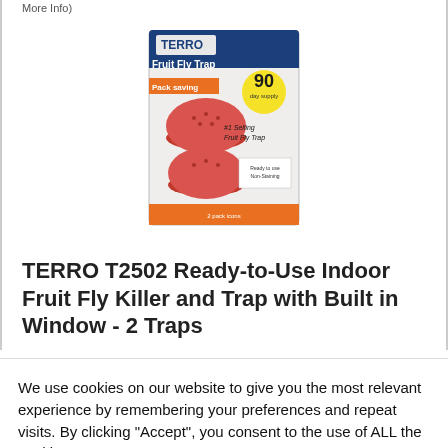More Info)
[Figure (photo): TERRO Fruit Fly Trap product packaging showing two red dome-shaped traps with a yellow '90 day supply' badge and '#1 Selling Fruit Fly Trap' text]
TERRO T2502 Ready-to-Use Indoor Fruit Fly Killer and Trap with Built in Window - 2 Traps
We use cookies on our website to give you the most relevant experience by remembering your preferences and repeat visits. By clicking “Accept”, you consent to the use of ALL the cookies.
Do not sell my personal information.
Cookie settings
ACCEPT